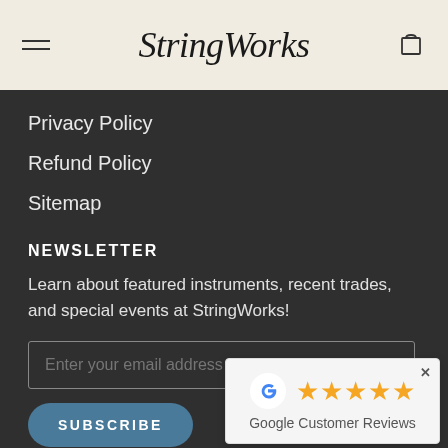StringWorks
Privacy Policy
Refund Policy
Sitemap
NEWSLETTER
Learn about featured instruments, recent trades, and special events at StringWorks!
Enter your email address
SUBSCRIBE
[Figure (screenshot): Google Customer Reviews popup with 5 gold stars and Google G logo]